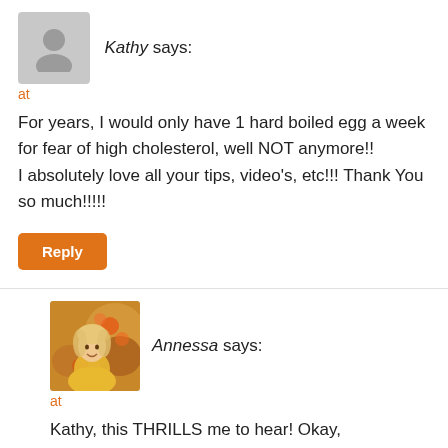Kathy says:
at
For years, I would only have 1 hard boiled egg a week for fear of high cholesterol, well NOT anymore!!
I absolutely love all your tips, video’s, etc!!! Thank You so much!!!!!
Reply
[Figure (photo): Profile photo of Annessa, a woman in a yellow top with flowers in the background]
Annessa says:
at
Kathy, this THRILLS me to hear! Okay,